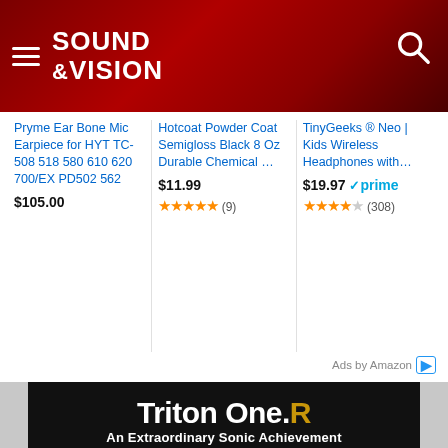Sound & Vision
[Figure (screenshot): Amazon product ads showing three products: Pryme Ear Bone Mic Earpiece for HYT TC-508 518 580 610 620 700/EX PD502 562 at $105.00; Hotcoat Powder Coat Semigloss Black 8 Oz Durable Chemical ... at $11.99 with 5 stars (9) reviews; TinyGeeks Neo Kids Wireless Headphones with... at $19.97 Prime with 3.5 stars (308) reviews. Ads by Amazon label at bottom right.]
[Figure (illustration): GoldenEar Technology Triton One.R advertisement on black background showing speaker tower with quote: As if you were in Symphony Hall. - Kal Rubinson, Stereophile]